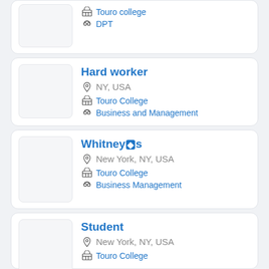Touro college | DPT (partial card at top)
Hard worker | NY, USA | Touro College | Business and Management
Whitney�s | New York, NY, USA | Touro College | Business Management
Student | New York, NY, USA | Touro College